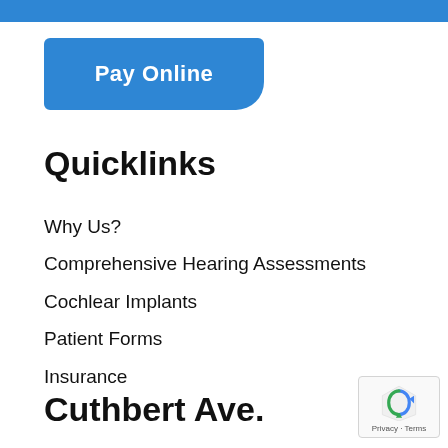[Figure (other): Blue top navigation bar strip]
[Figure (other): Blue rounded Pay Online button]
Quicklinks
Why Us?
Comprehensive Hearing Assessments
Cochlear Implants
Patient Forms
Insurance
Cuthbert Ave.
[Figure (other): Google reCAPTCHA badge with Privacy and Terms text]